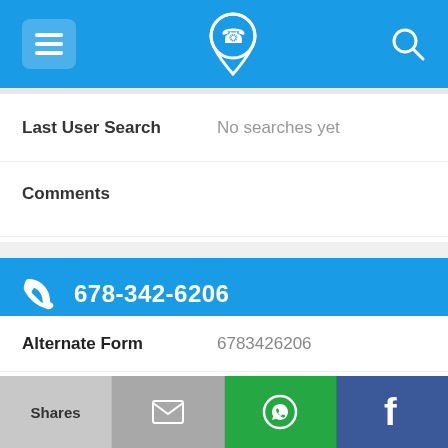Navigation bar with menu, phone/location icon, and search icon
Last User Search   No searches yet
Comments
678-342-6206
Alternate Form   6783426206
Caller name   3 Listings found
Last User Search   No searches yet
Shares | [email icon] | [WhatsApp icon] | [Facebook icon]